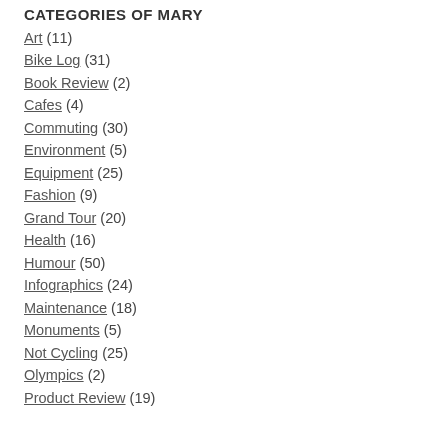CATEGORIES OF MARY
Art (11)
Bike Log (31)
Book Review (2)
Cafes (4)
Commuting (30)
Environment (5)
Equipment (25)
Fashion (9)
Grand Tour (20)
Health (16)
Humour (50)
Infographics (24)
Maintenance (18)
Monuments (5)
Not Cycling (25)
Olympics (2)
Product Review (19)